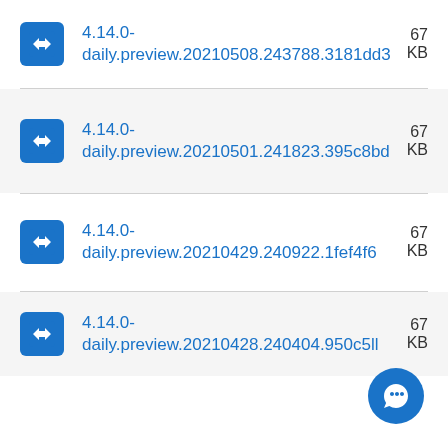4.14.0-daily.preview.20210508.243788.3181dd3  67 KB
4.14.0-daily.preview.20210501.241823.395c8bd  67 KB
4.14.0-daily.preview.20210429.240922.1fef4f6  67 KB
4.14.0-daily.preview.20210428.240404.950c5ll  67 KB